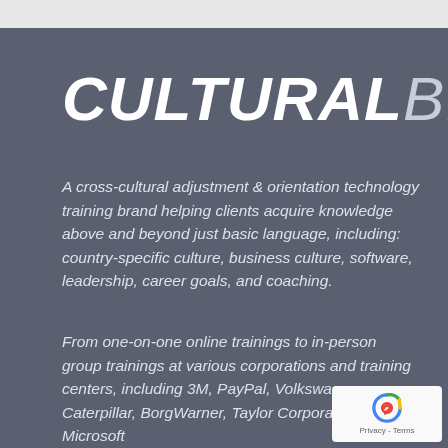CULTURALBILITY
A cross-cultural adjustment & orientation technology training brand helping clients acquire knowledge above and beyond just basic language, including: country-specific culture, business culture, software, leadership, career goals, and coaching.
From one-on-one online trainings to in-person group trainings at various corporations and training centers, including 3M, PayPal, Volkswagen, Caterpillar, BorgWarner, Taylor Corporation, Microsoft